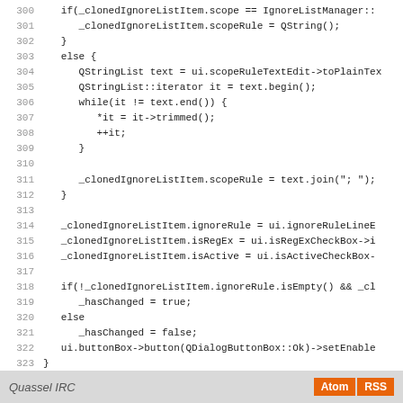[Figure (screenshot): Source code listing showing C++ code for IgnoreListEditDlg, lines 300-327, with line numbers on the left and code on the right on a white background.]
Quassel IRC   Atom  RSS